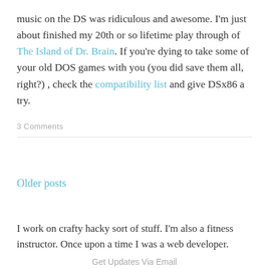music on the DS was ridiculous and awesome. I'm just about finished my 20th or so lifetime play through of The Island of Dr. Brain. If you're dying to take some of your old DOS games with you (you did save them all, right?) , check the compatibility list and give DSx86 a try.
3 Comments
Older posts
I work on crafty hacky sort of stuff. I'm also a fitness instructor. Once upon a time I was a web developer.
Get Updates Via Email